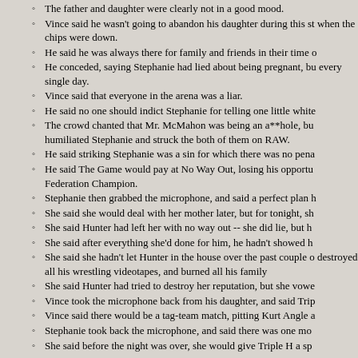The father and daughter were clearly not in a good mood.
Vince said he wasn't going to abandon his daughter during this struggle when the chips were down.
He said he was always there for family and friends in their time of need.
He conceded, saying Stephanie had lied about being pregnant, but he lies every single day.
Vince said that everyone in the arena was a liar.
He said no one should indict Stephanie for telling one little white lie.
The crowd chanted that Mr. McMahon was being an a**hole, but he humiliated Stephanie and struck the both of them on RAW.
He said striking Stephanie was a sin for which there was no pena...
He said The Game would pay at No Way Out, losing his opportunity to become Federation Champion.
Stephanie then grabbed the microphone, and said a perfect plan had...
She said she would deal with her mother later, but for tonight, sh...
She said Hunter had left her with no way out -- she did lie, but h...
She said after everything she'd done for him, he hadn't showed h...
She said she hadn't let Hunter in the house over the past couple of days, destroyed all his wrestling videotapes, and burned all his family...
She said Hunter had tried to destroy her reputation, but she vowed...
Vince took the microphone back from his daughter, and said Trip...
Vince said there would be a tag-team match, pitting Kurt Angle a...
Stephanie took back the microphone, and said there was one mo...
She said before the night was over, she would give Triple H a sp...
2. BACKSTAGE: Booker T & Test.
Test said he was nervous about Booker's big match with Spike.
Booker said he was nervous too, and then the two men busted...